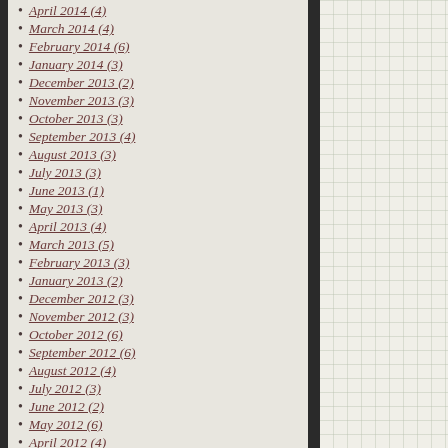April 2014 (4)
March 2014 (4)
February 2014 (6)
January 2014 (3)
December 2013 (2)
November 2013 (3)
October 2013 (3)
September 2013 (4)
August 2013 (3)
July 2013 (3)
June 2013 (1)
May 2013 (3)
April 2013 (4)
March 2013 (5)
February 2013 (3)
January 2013 (2)
December 2012 (3)
November 2012 (3)
October 2012 (6)
September 2012 (6)
August 2012 (4)
July 2012 (3)
June 2012 (2)
May 2012 (6)
April 2012 (4)